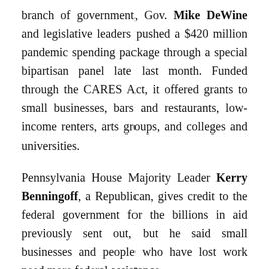branch of government, Gov. Mike DeWine and legislative leaders pushed a $420 million pandemic spending package through a special bipartisan panel late last month. Funded through the CARES Act, it offered grants to small businesses, bars and restaurants, low-income renters, arts groups, and colleges and universities.
Pennsylvania House Majority Leader Kerry Benningoff, a Republican, gives credit to the federal government for the billions in aid previously sent out, but he said small businesses and people who have lost work need more federal assistance.
“The election’s over,” Benninghoff said. “This is not a time for finger-pointing.”